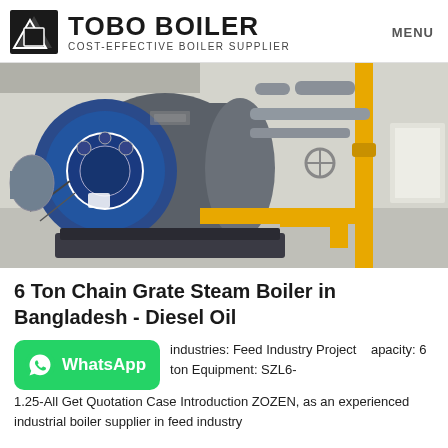TOBO BOILER — COST-EFFECTIVE BOILER SUPPLIER — MENU
[Figure (photo): Industrial boiler room with a large blue-fronted chain grate steam boiler and yellow gas piping]
6 Ton Chain Grate Steam Boiler in Bangladesh - Diesel Oil
[Figure (other): WhatsApp contact button (green rounded rectangle with WhatsApp icon and label)]
industries: Feed Industry Project apacity: 6 ton Equipment: SZL6-1.25-All Get Quotation Case Introduction ZOZEN, as an experienced industrial boiler supplier in feed industry